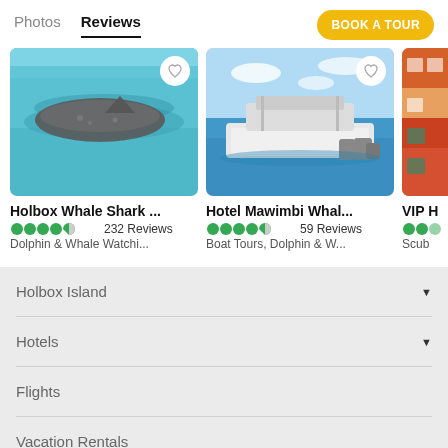Photos   Reviews   BOOK A TOUR
[Figure (photo): Whale shark swimming in turquoise water - Holbox Whale Shark tour card]
[Figure (photo): White speedboat on ocean - Hotel Mawimbi Whale tour card]
[Figure (photo): Partially visible colorful building - VIP tour card (cropped)]
Holbox Whale Shark ...
●●●●◐ 232 Reviews
Dolphin & Whale Watchi...
Hotel Mawimbi Whal...
●●●●◐ 59 Reviews
Boat Tours, Dolphin & W...
VIP H
Holbox Island
Hotels
Flights
Vacation Rentals
Restaurants